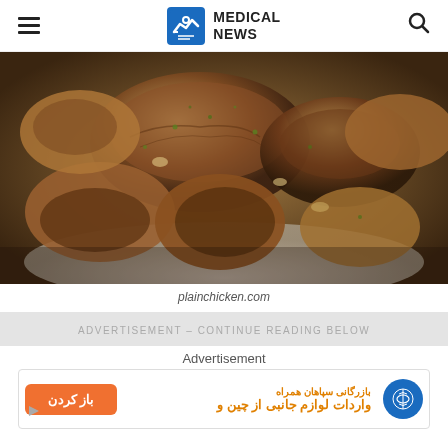MEDICAL NEWS
[Figure (photo): Close-up photo of cooked/roasted mushrooms on a plate, seasoned with herbs, from plainchicken.com]
plainchicken.com
ADVERTISEMENT - CONTINUE READING BELOW
Advertisement
[Figure (other): Advertisement banner in Persian/Farsi with orange button and blue logo]